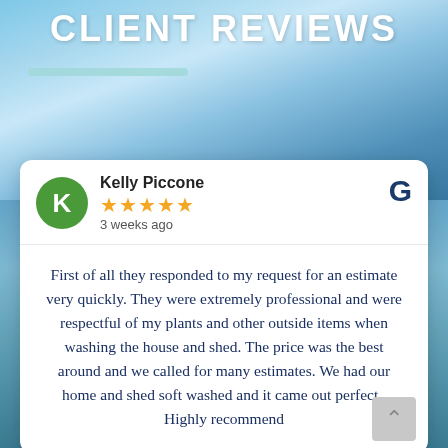CLIENT REVIEWS
[Figure (illustration): Decorative teal/cyan horizontal bar beneath the title]
Kelly Piccone
★★★★★
3 weeks ago
First of all they responded to my request for an estimate very quickly. They were extremely professional and were respectful of my plants and other outside items when washing the house and shed. The price was the best around and we called for many estimates. We had our home and shed soft washed and it came out perfect . Highly recommend